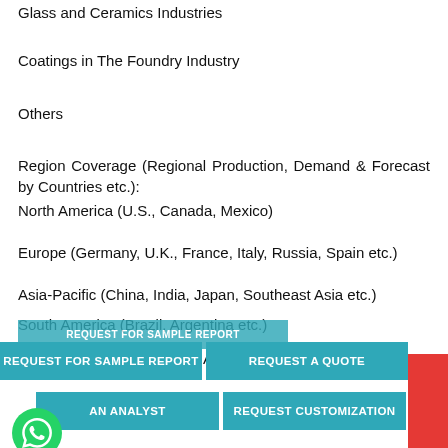Glass and Ceramics Industries
Coatings in The Foundry Industry
Others
Region Coverage (Regional Production, Demand & Forecast by Countries etc.):
North America (U.S., Canada, Mexico)
Europe (Germany, U.K., France, Italy, Russia, Spain etc.)
Asia-Pacific (China, India, Japan, Southeast Asia etc.)
South America (Brazil, Argentina etc.)
Middle East & Africa (Saudi Arabia, South Africa etc.)
[Figure (screenshot): Call-to-action buttons: REQUEST FOR SAMPLE REPORT (partially visible top), REQUEST FOR SAMPLE REPORT, REQUEST A QUOTE, AN ANALYST, REQUEST CUSTOMIZATION, WhatsApp icon button]